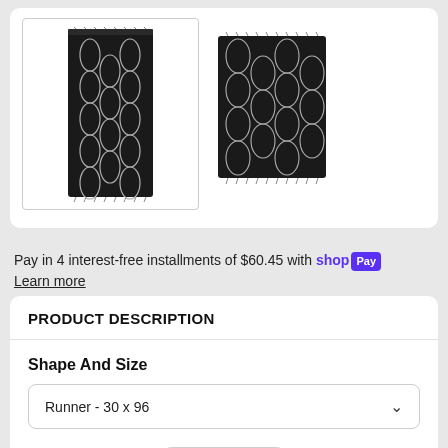[Figure (photo): Two black rugs with white geometric diamond/honeycomb pattern and fringe edges. Left image is a tall runner rug shown in a bordered frame. Right image is a wider rectangular rug shown as a thumbnail.]
Pay in 4 interest-free installments of $60.45 with shop Pay
Learn more
PRODUCT DESCRIPTION
Shape And Size
Runner - 30 x 96
1